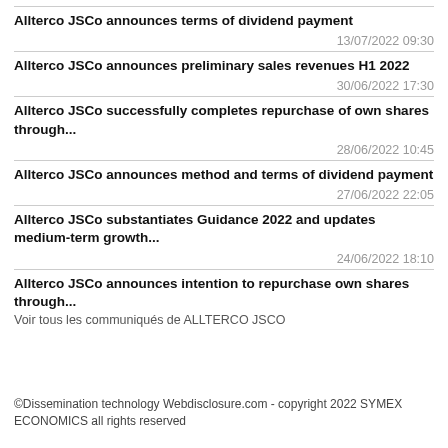Allterco JSCo announces terms of dividend payment
13/07/2022 09:30
Allterco JSCo announces preliminary sales revenues H1 2022
30/06/2022 17:30
Allterco JSCo successfully completes repurchase of own shares through...
28/06/2022 10:45
Allterco JSCo announces method and terms of dividend payment
27/06/2022 22:05
Allterco JSCo substantiates Guidance 2022 and updates medium-term growth...
24/06/2022 18:10
Allterco JSCo announces intention to repurchase own shares through...
Voir tous les communiqués de ALLTERCO JSCO
©Dissemination technology Webdisclosure.com - copyright 2022 SYMEX ECONOMICS all rights reserved